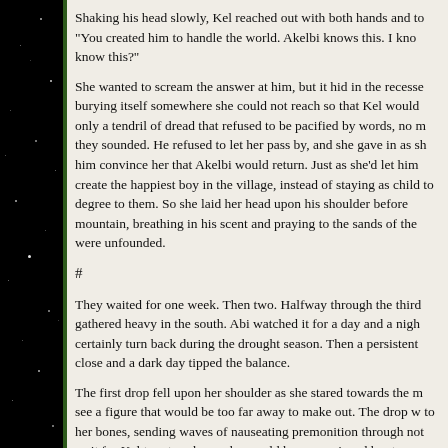Shaking his head slowly, Kel reached out with both hands and to "You created him to handle the world. Akelbi knows this. I kno know this?"
She wanted to scream the answer at him, but it hid in the recesse burying itself somewhere she could not reach so that Kel would only a tendril of dread that refused to be pacified by words, no m they sounded. He refused to let her pass by, and she gave in as sh him convince her that Akelbi would return. Just as she'd let him create the happiest boy in the village, instead of staying as child to degree to them. So she laid her head upon his shoulder before mountain, breathing in his scent and praying to the sands of the were unfounded.
#
They waited for one week. Then two. Halfway through the third gathered heavy in the south. Abi watched it for a day and a nigh certainly turn back during the drought season. Then a persistent close and a dark day tipped the balance.
The first drop fell upon her shoulder as she stared towards the m see a figure that would be too far away to make out. The drop w to her bones, sending waves of nauseating premonition through not wait for Kel to return home, he would have convinced her to